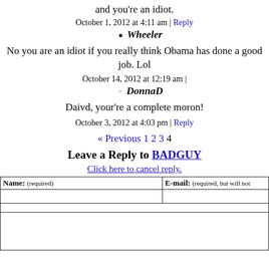and you're an idiot.
October 1, 2012 at 4:11 am | Reply
Wheeler
No you are an idiot if you really think Obama has done a good job. Lol
October 14, 2012 at 12:19 am |
DonnaD
Daivd, your're a complete moron!
October 3, 2012 at 4:03 pm | Reply
« Previous 1 2 3 4
Leave a Reply to BADGUY
Click here to cancel reply.